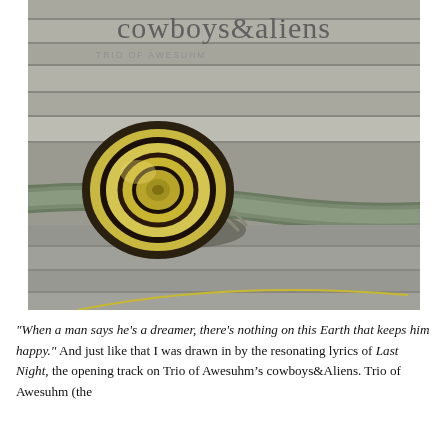[Figure (photo): Album cover for 'cowboys&aliens' by Trio of Awesuhm. A close-up photograph of a yellow snail with a spiral shell crawling on a wet wooden surface. The album title 'cowboys&aliens' appears at the top in light gray serif font, and the artist name 'Trio of Awesuhm' appears below it in small gray caps.]
“When a man says he’s a dreamer, there’s nothing on this Earth that keeps him happy.” And just like that I was drawn in by the resonating lyrics of Last Night, the opening track on Trio of Awesuhm’s cowboys&Aliens. Trio of Awesuhm (the